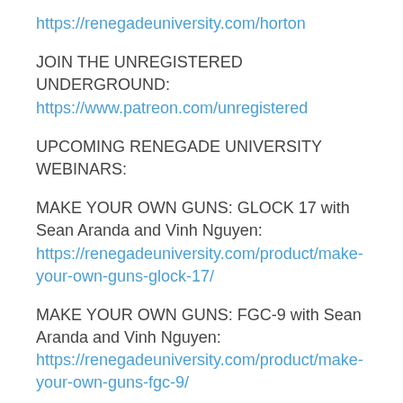https://renegadeuniversity.com/horton
JOIN THE UNREGISTERED UNDERGROUND:
https://www.patreon.com/unregistered
UPCOMING RENEGADE UNIVERSITY WEBINARS:
MAKE YOUR OWN GUNS: GLOCK 17 with Sean Aranda and Vinh Nguyen:
https://renegadeuniversity.com/product/make-your-own-guns-glock-17/
MAKE YOUR OWN GUNS: FGC-9 with Sean Aranda and Vinh Nguyen:
https://renegadeuniversity.com/product/make-your-own-guns-fgc-9/
MAKE YOUR OWN GUNS: ...